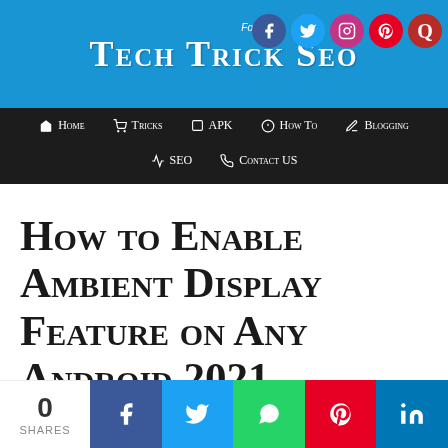Tech Trick SEO
Home | Tricks | APK | How To | Blogging | SEO | Contact US
How to Enable Ambient Display Feature on Any Android 2021
0 SHARES